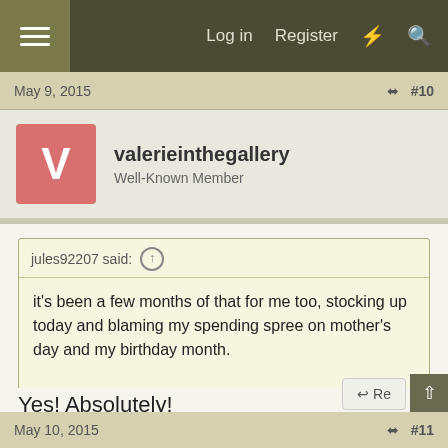Log in  Register
May 9, 2015  #10
valerieinthegallery
Well-Known Member
jules92207 said:
it's been a few months of that for me too, stocking up today and blaming my spending spree on mother's day and my birthday month.

It's gotta make us feel a little better right?!
Yes! Absolutely!
May 10, 2015  #11